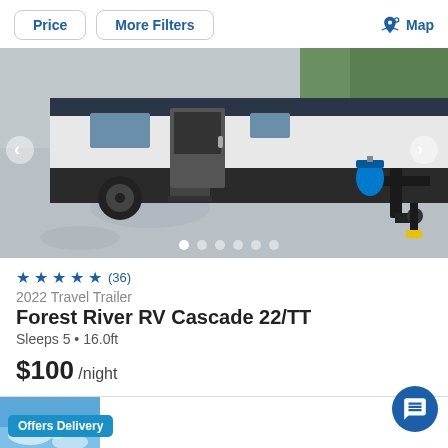Price | More Filters | Map
[Figure (photo): Photo of a 2022 Forest River RV Cascade 22/TT travel trailer parked on a paved surface, showing the rear and hitch area with propane tanks and stabilizer equipment. Navigation arrows on left and right, pagination dots at bottom.]
★★★★★ (36)
2022 Travel Trailer
Forest River RV Cascade 22/TT
Sleeps 5 • 16.0ft
$100 /night
[Figure (photo): Partial view of a second RV listing with blue sky background and an 'Offers Delivery' badge.]